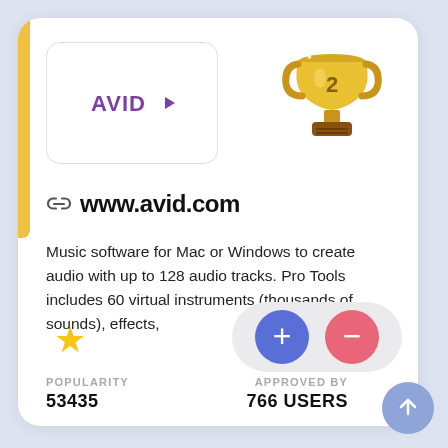[Figure (logo): Avid logo with purple stylized text 'AVID' with a play-button arrow]
[Figure (illustration): Gold trophy with number 2 on it]
www.avid.com
Music software for Mac or Windows to create audio with up to 128 audio tracks. Pro Tools includes 60 virtual instruments (thousands of sounds), effects,
POPULARITY
53435
APPROVED BY
766 USERS